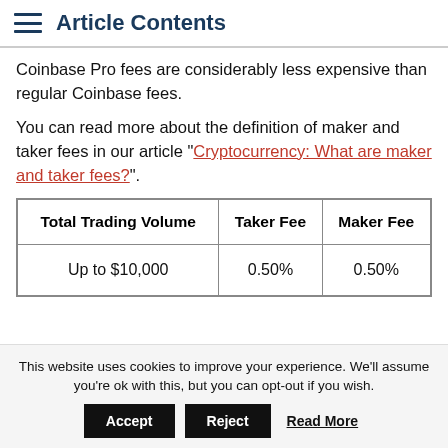Article Contents
Coinbase Pro fees are considerably less expensive than regular Coinbase fees.
You can read more about the definition of maker and taker fees in our article "Cryptocurrency: What are maker and taker fees?".
| Total Trading Volume | Taker Fee | Maker Fee |
| --- | --- | --- |
| Up to $10,000 | 0.50% | 0.50% |
This website uses cookies to improve your experience. We'll assume you're ok with this, but you can opt-out if you wish.